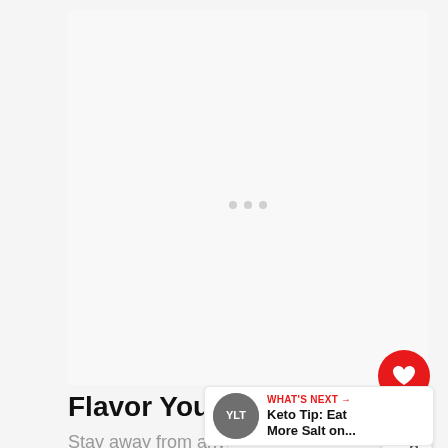[Figure (photo): Large nearly blank/white image area, appears to be a loading or placeholder image for a recipe or article about flavored water.]
Flavor Your Water
Stay away from anything with sugar
[Figure (infographic): What's Next card showing thumbnail image of salt with text 'Keto Tip: Eat More Salt on...']